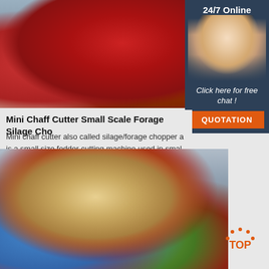[Figure (photo): Red agricultural machinery (chaff cutter/forage chopper) on a concrete surface, top portion of page]
Mini Chaff Cutter Small Scale Forage Silage Cho...
Mini chaff cutter also called silage/forage chopper a... is a small size fodder cutting machine used in smal... chop dry or wet grass corn/wheat/cotton/soybean s... pieces to feed cow horse pig rabbit sheep and chic... production capacity is 400-1200kg per hour.
Get Price
[Figure (photo): Small agricultural spreader/chopper machine on ground with colorful items in background]
[Figure (infographic): 24/7 Online customer service widget with woman wearing headset, 'Click here for free chat!' text, and QUOTATION button]
[Figure (infographic): TOP button with orange dots in arc pattern]